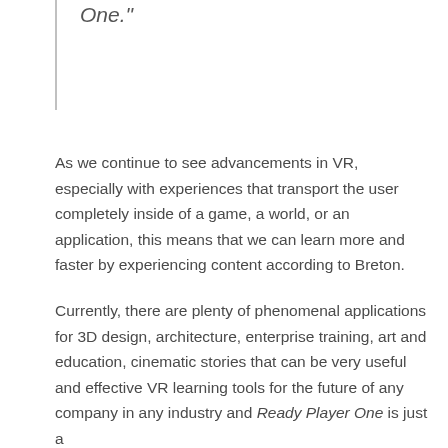One."
As we continue to see advancements in VR, especially with experiences that transport the user completely inside of a game, a world, or an application, this means that we can learn more and faster by experiencing content according to Breton.
Currently, there are plenty of phenomenal applications for 3D design, architecture, enterprise training, art and education, cinematic stories that can be very useful and effective VR learning tools for the future of any company in any industry and Ready Player One is just a